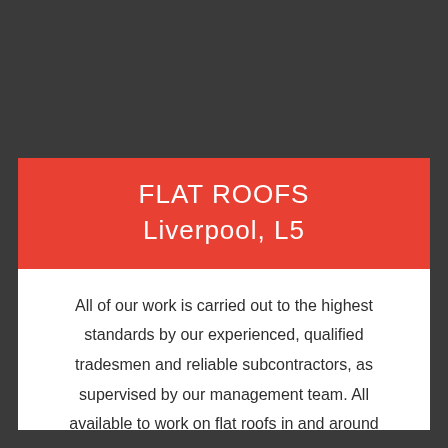FLAT ROOFS
Liverpool, L5
All of our work is carried out to the highest standards by our experienced, qualified tradesmen and reliable subcontractors, as supervised by our management team. All available to work on flat roofs in and around Liverpool, L5